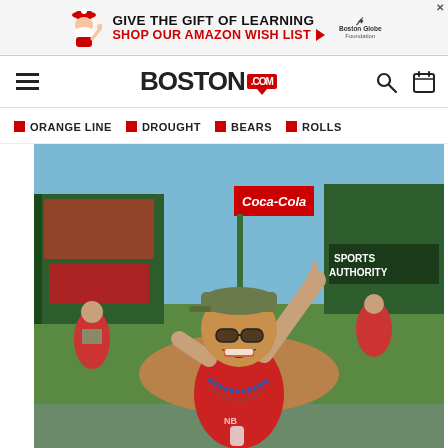[Figure (screenshot): Ad banner: GIVE THE GIFT OF LEARNING / SHOP OUR AMAZON WISH LIST with red arrow, Boston Globe Foundation logo, Santa illustration, and X close button]
Boston.com navigation header with hamburger menu, Boston.com logo, search icon and calendar icon
ORANGE LINE
DROUGHT
BEARS
ROLLS
[Figure (photo): Woman in red sleeveless shirt, camouflage cap, sunglasses and beaded necklace celebrating with arm raised at Fenway Park. Coca-Cola sign and Sports Authority sign visible in background. Green field and stadium seating visible.]